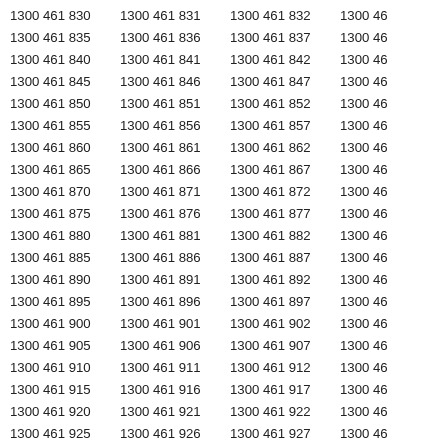| Col1 | Col2 | Col3 | Col4 |
| --- | --- | --- | --- |
| 1300 461 830 | 1300 461 831 | 1300 461 832 | 1300 46… |
| 1300 461 835 | 1300 461 836 | 1300 461 837 | 1300 46… |
| 1300 461 840 | 1300 461 841 | 1300 461 842 | 1300 46… |
| 1300 461 845 | 1300 461 846 | 1300 461 847 | 1300 46… |
| 1300 461 850 | 1300 461 851 | 1300 461 852 | 1300 46… |
| 1300 461 855 | 1300 461 856 | 1300 461 857 | 1300 46… |
| 1300 461 860 | 1300 461 861 | 1300 461 862 | 1300 46… |
| 1300 461 865 | 1300 461 866 | 1300 461 867 | 1300 46… |
| 1300 461 870 | 1300 461 871 | 1300 461 872 | 1300 46… |
| 1300 461 875 | 1300 461 876 | 1300 461 877 | 1300 46… |
| 1300 461 880 | 1300 461 881 | 1300 461 882 | 1300 46… |
| 1300 461 885 | 1300 461 886 | 1300 461 887 | 1300 46… |
| 1300 461 890 | 1300 461 891 | 1300 461 892 | 1300 46… |
| 1300 461 895 | 1300 461 896 | 1300 461 897 | 1300 46… |
| 1300 461 900 | 1300 461 901 | 1300 461 902 | 1300 46… |
| 1300 461 905 | 1300 461 906 | 1300 461 907 | 1300 46… |
| 1300 461 910 | 1300 461 911 | 1300 461 912 | 1300 46… |
| 1300 461 915 | 1300 461 916 | 1300 461 917 | 1300 46… |
| 1300 461 920 | 1300 461 921 | 1300 461 922 | 1300 46… |
| 1300 461 925 | 1300 461 926 | 1300 461 927 | 1300 46… |
| 1300 461 930 | 1300 461 931 | 1300 461 932 | 1300 46… |
| 1300 461 935 | 1300 461 936 | 1300 461 937 | 1300 46… |
| 1300 461 940 | 1300 461 941 | 1300 461 942 | 1300 46… |
| 1300 461 945… | 1300 461 946… | 1300 461 947… | 1300 46… |